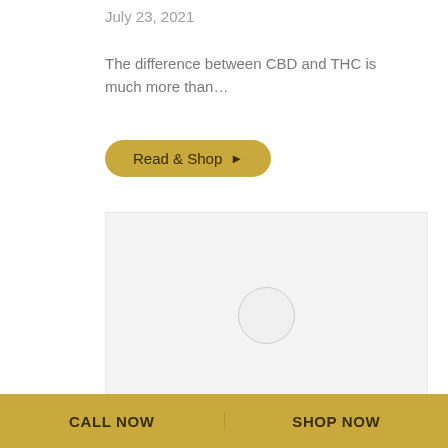July 23, 2021
The difference between CBD and THC is much more than…
Read & Shop ▶
[Figure (photo): Placeholder image with light gray background and a circle outline in the center]
What Is Full-Spectrum CBD?
CALL NOW   SHOP NOW